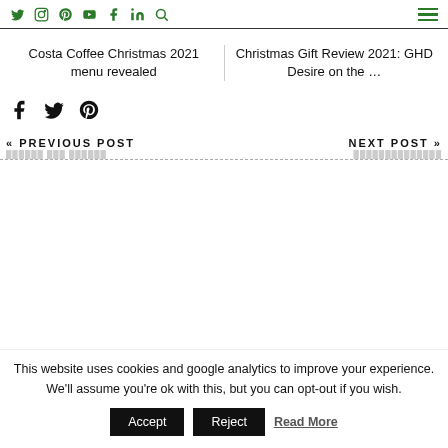Social media icons (Twitter, Instagram, Pinterest, YouTube, Facebook, LinkedIn, Search) and hamburger menu
Costa Coffee Christmas 2021 menu revealed
Christmas Gift Review 2021: GHD Desire on the …
[Figure (other): Share icons: Facebook, Twitter, Pinterest]
« PREVIOUS POST  NEXT POST »
This website uses cookies and google analytics to improve your experience. We'll assume you're ok with this, but you can opt-out if you wish. Accept Reject Read More